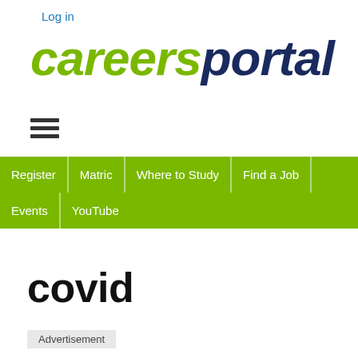Log in
[Figure (logo): careersportal logo in green and dark navy italic bold text]
[Figure (other): Hamburger menu icon (three horizontal lines)]
Register | Matric | Where to Study | Find a Job | Events | YouTube
covid
Advertisement